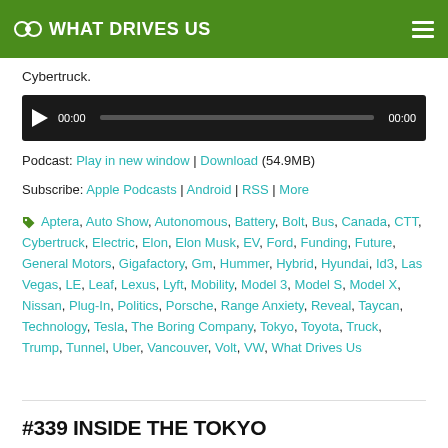WHAT DRIVES US
Cybertruck.
[Figure (other): Audio player with play button, time display 00:00, progress bar, and end time 00:00]
Podcast: Play in new window | Download (54.9MB)
Subscribe: Apple Podcasts | Android | RSS | More
Aptera, Auto Show, Autonomous, Battery, Bolt, Bus, Canada, CTT, Cybertruck, Electric, Elon, Elon Musk, EV, Ford, Funding, Future, General Motors, Gigafactory, Gm, Hummer, Hybrid, Hyundai, Id3, Las Vegas, LE, Leaf, Lexus, Lyft, Mobility, Model 3, Model S, Model X, Nissan, Plug-In, Politics, Porsche, Range Anxiety, Reveal, Taycan, Technology, Tesla, The Boring Company, Tokyo, Toyota, Truck, Trump, Tunnel, Uber, Vancouver, Volt, VW, What Drives Us
#339 INSIDE THE TOKYO